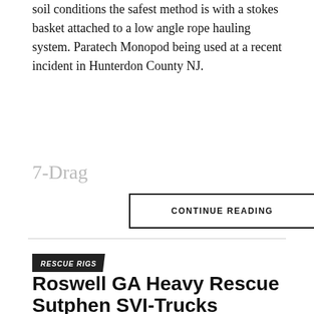soil conditions the safest method is with a stokes basket attached to a low angle rope hauling system. Paratech Monopod being used at a recent incident in Hunterdon County NJ.
7-Drag
CONTINUE READING
RESCUE RIGS
Roswell GA Heavy Rescue Sutphen SVI-Trucks
This apparatus comes equipped with a Command Light Knight 2